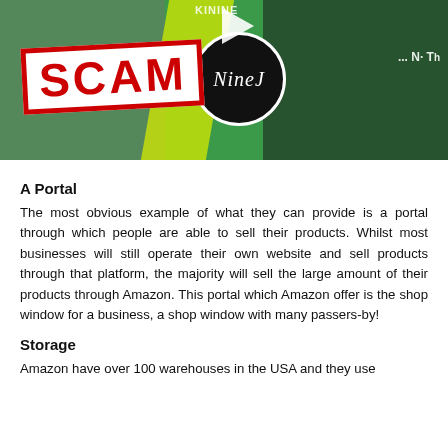[Figure (photo): Thumbnail image showing people with a red and white SCAM badge overlay on the left, a circular black logo with 'NineJ' text in center, yellow diagonal stripe, and a person in dark clothing on the right. Green background with play button icon.]
A Portal
The most obvious example of what they can provide is a portal through which people are able to sell their products. Whilst most businesses will still operate their own website and sell products through that platform, the majority will sell the large amount of their products through Amazon. This portal which Amazon offer is the shop window for a business, a shop window with many passers-by!
Storage
Amazon have over 100 warehouses in the USA and they use